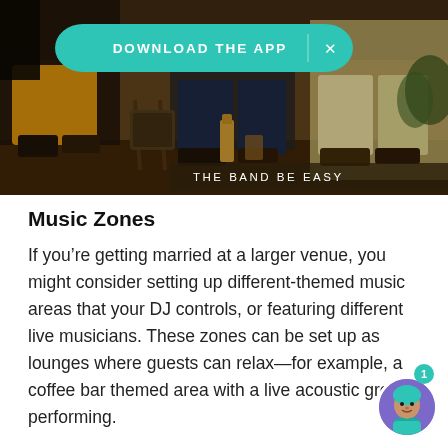[Figure (photo): Photo of a band/musicians sitting, lower halves visible, with a bottle on a wooden floor. A teal 'DOWNLOAD THE APP' banner overlays the top. Caption reads 'THE BAND BE EASY' in white text on dark background at bottom right.]
Music Zones
If you're getting married at a larger venue, you might consider setting up different-themed music areas that your DJ controls, or featuring different live musicians. These zones can be set up as lounges where guests can relax—for example, a coffee bar themed area with a live acoustic gro performing.